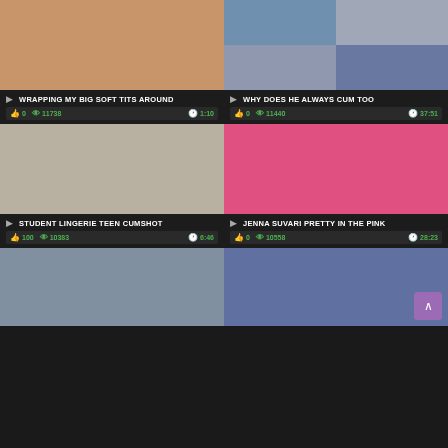[Figure (photo): Video thumbnail showing adult content]
WRAPPING MY BIG SOFT TITS AROUND
0  11738  1:10
[Figure (photo): Multi-panel video thumbnail collage]
WHY DOES HE ALWAYS CUM TOO
0  11440  37:51
[Figure (photo): Video thumbnail showing adult content]
STUDENT LINGERIE TEEN CUMSHOT
100  10383  6:46
[Figure (photo): Video thumbnail showing adult content]
JENNA SUVARI PRETTY IN THE PINK
0  10558  28:23
[Figure (photo): Video thumbnail showing adult content - bottom left partial]
[Figure (photo): Video thumbnail showing adult content - bottom right partial]